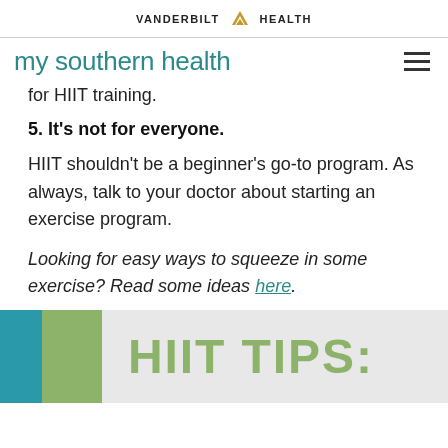VANDERBILT HEALTH
my southern health
for HIIT training.
5. It's not for everyone.
HIIT shouldn't be a beginner's go-to program. As always, talk to your doctor about starting an exercise program.
Looking for easy ways to squeeze in some exercise? Read some ideas here.
[Figure (infographic): HIIT TIPS: promotional banner with teal and green color blocks on the left side and green text reading 'HIIT TIPS:' on a light gray background]